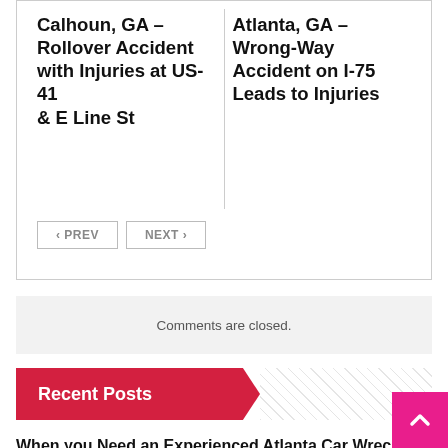Calhoun, GA – Rollover Accident with Injuries at US-41 & E Line St
Atlanta, GA – Wrong-Way Accident on I-75 Leads to Injuries
PREV  NEXT
Comments are closed.
Recent Posts
When you Need an Experienced Atlanta Car Wreck Law Firm
Need an Auto Accident Attorney in Sandy Springs Georgia?